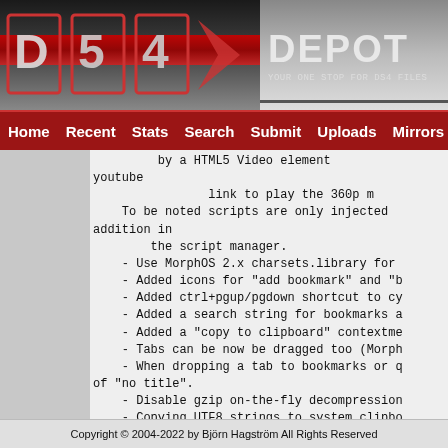[Figure (logo): DS4 Depot logo - red and grey with text 'DEPOT - YOUR ONE STOP FOR DS4 FILES']
Home  Recent  Stats  Search  Submit  Uploads  Mirrors  C...
by a HTML5 Video element
youtube
   link to play the 360p mp
   To be noted scripts are only injected addition in
   the script manager.
   - Use MorphOS 2.x charsets.library for ...
   - Added icons for "add bookmark" and "b...
   - Added ctrl+pgup/pgdown shortcut to cy...
   - Added a search string for bookmarks a...
   - Added a "copy to clipboard" contextme...
   - Tabs can be now be dragged too (Morph...
   - When dropping a tab to bookmarks or q...
   of "no title".
   - Disable gzip on-the-fly decompression...
   - Copying UTF8 strings to system clipbo... truncated strings.
   - Adjusted timer to postpone short requ...
     they could cause high CPU usage in so...
   - Fixed a bug in download manager when ...
Copyright © 2004-2022 by Björn Hagström All Rights Reserved